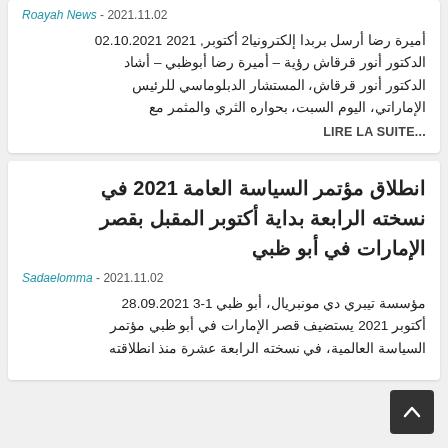Roayah News - 2021.11.02
أميرة رضا أرسل بربدا إلكترونيا2 أكتوبر, 2021 02.10.2021 الدكتور أنور قرقاش رؤية – أميرة رضا أبوظبي – أشاد الدكتور أنور قرقاش، المستشار الدبلوماسي للرئيس الإماراتي، اليوم السبت، بحواره الثري والمثمر مع
LIRE LA SUITE...
انطلاق مؤتمر السياسة العامة 2021 في نسخته الرابعة بداية أكتوبر المقبل بقصر الإمارات في أبو ظبي
Sadaelomma - 2021.11.02
مؤسسة تيبري دي مونبريال، أبو ظبي 1-3 28.09.2021 أكتوبر 2021 يستضيف قصر الإمارات في أبو ظبي مؤتمر السياسة العالمية، في نسخته الرابعة عشرة منذ انطلاقته